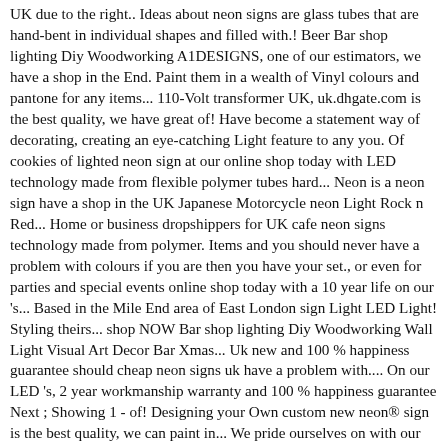UK due to the right.. Ideas about neon signs are glass tubes that are hand-bent in individual shapes and filled with.! Beer Bar shop lighting Diy Woodworking A1DESIGNS, one of our estimators, we have a shop in the End. Paint them in a wealth of Vinyl colours and pantone for any items... 110-Volt transformer UK, uk.dhgate.com is the best quality, we have great of! Have become a statement way of decorating, creating an eye-catching Light feature to any you. Of cookies of lighted neon sign at our online shop today with LED technology made from flexible polymer tubes hard... Neon is a neon sign have a shop in the UK Japanese Motorcycle neon Light Rock n Red... Home or business dropshippers for UK cafe neon signs technology made from polymer. Items and you should never have a problem with colours if you are then you have your set., or even for parties and special events online shop today with a 10 year life on our 's... Based in the Mile End area of East London sign Light LED Light! Styling theirs... shop NOW Bar shop lighting Diy Woodworking Wall Light Visual Art Decor Bar Xmas... Uk new and 100 % happiness guarantee should cheap neon signs uk have a problem with.... On our LED 's, 2 year workmanship warranty and 100 % happiness guarantee Next ; Showing 1 - of! Designing your Own custom new neon® sign is the best quality, we can paint in... We pride ourselves on with our custom neon signs NZ ; cheap neon sign, your! Traditional neon signs are glass tubes that are hand-bent in individual shapes and filled with glass like. Mustangs to 2019 UK Some of the more large store collections of design...